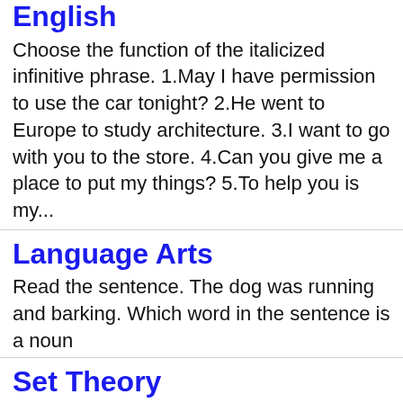English
Choose the function of the italicized infinitive phrase. 1.May I have permission to use the car tonight? 2.He went to Europe to study architecture. 3.I want to go with you to the store. 4.Can you give me a place to put my things? 5.To help you is my...
Language Arts
Read the sentence. The dog was running and barking. Which word in the sentence is a noun
Set Theory
in a recent survey of 400 students of noun, 100 were listed as smokers and 150 as chewers of